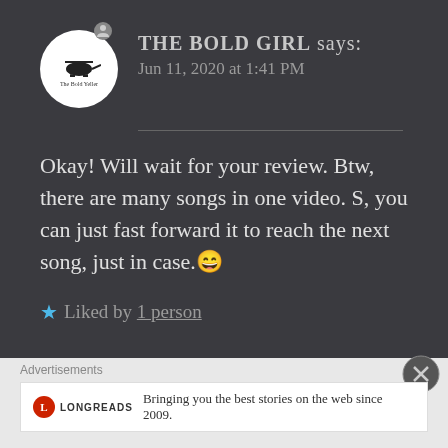[Figure (screenshot): User avatar circle with helicopter silhouette and 'The Bold Yeller' text]
THE BOLD GIRL says:
Jun 11, 2020 at 1:41 PM
Okay! Will wait for your review. Btw, there are many songs in one video. S, you can just fast forward it to reach the next song, just in case.😀
★ Liked by 1 person
Advertisements
LONGREADS
Bringing you the best stories on the web since 2009.